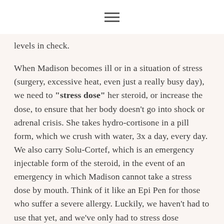≡
levels in check.
When Madison becomes ill or in a situation of stress (surgery, excessive heat, even just a really busy day), we need to "stress dose" her steroid, or increase the dose, to ensure that her body doesn't go into shock or adrenal crisis. She takes hydro-cortisone in a pill form, which we crush with water, 3x a day, every day. We also carry Solu-Cortef, which is an emergency injectable form of the steroid, in the event of an emergency in which Madison cannot take a stress dose by mouth. Think of it like an Epi Pen for those who suffer a severe allergy. Luckily, we haven't had to use that yet, and we've only had to stress dose Madison a few times over the past year (including our recent stint in the hospital